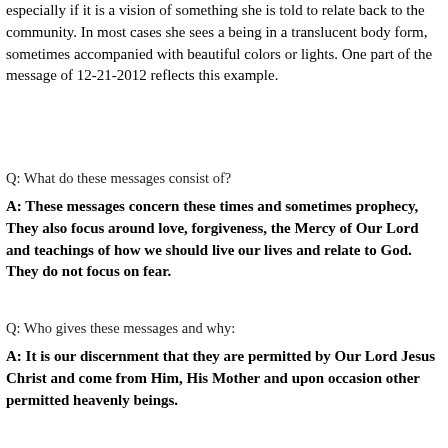especially if it is a vision of something she is told to relate back to the community. In most cases she sees a being in a translucent body form, sometimes accompanied with beautiful colors or lights. One part of the message of 12-21-2012 reflects this example.
Q: What do these messages consist of?
A: These messages concern these times and sometimes prophecy, They also focus around love, forgiveness, the Mercy of Our Lord and teachings of how we should live our lives and relate to God. They do not focus on fear.
Q: Who gives these messages and why:
A: It is our discernment that they are permitted by Our Lord Jesus Christ and come from Him, His Mother and upon occasion other permitted heavenly beings.